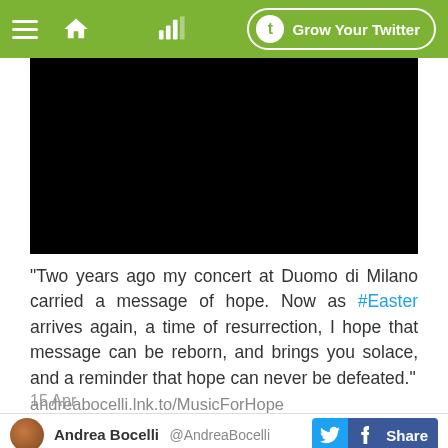Grow Your Twitter
[Figure (photo): Black video thumbnail area]
"Two years ago my concert at Duomo di Milano carried a message of hope. Now as #Easter arrives again, a time of resurrection, I hope that message can be reborn, and brings you solace, and a reminder that hope can never be defeated." andreabocelli.lnk.to/MusicForHope
15 Apr
Andrea Bocelli @AndreaBocelli